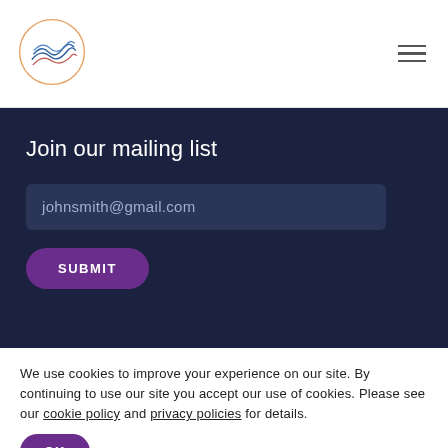[Figure (logo): Circular logo with wave lines and orange/blue/purple color scheme]
Join our mailing list
johnsmith@gmail.com
SUBMIT
We use cookies to improve your experience on our site. By continuing to use our site you accept our use of cookies. Please see our cookie policy and privacy policies for details.
OK